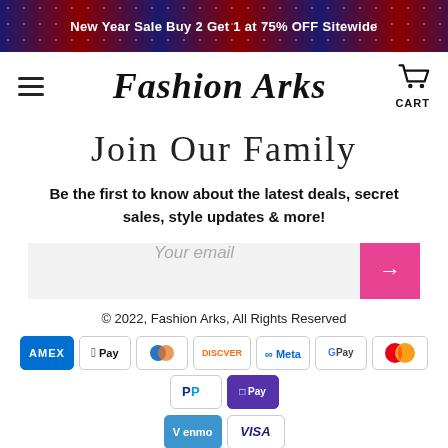New Year Sale Buy 2 Get 1 at 75% OFF Sitewide
[Figure (logo): Fashion Arks logo with hamburger menu and cart icon]
Join Our Family
Be the first to know about the latest deals, secret sales, style updates & more!
[Figure (other): Email input field with pink submit arrow button]
© 2022, Fashion Arks, All Rights Reserved
[Figure (other): Payment method icons: Amex, Apple Pay, Diners, Discover, Meta, Google Pay, Mastercard, PayPal, Shop Pay, Venmo, Visa]